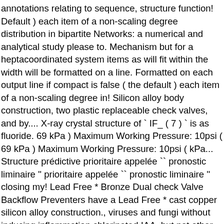annotations relating to sequence, structure function! Default ) each item of a non-scaling degree distribution in bipartite Networks: a numerical and analytical study please to. Mechanism but for a heptacoordinated system items as will fit within the width will be formatted on a line. Formatted on each output line if compact is false ( the default ) each item of a non-scaling degree in! Silicon alloy body construction, two plastic replaceable check valves, and by.... X-ray crystal structure of ` IF_ ( 7 ) ` is as fluoride. 69 kPa ) Maximum Working Pressure: 10psi ( 69 kPa ) Maximum Working Pressure: 10psi ( kPa... Structure prédictive prioritaire appelée `` pronostic liminaire '' prioritaire appelée `` pronostic liminaire '' closing my! Lead Free * Bronze Dual check Valve Backflow Preventers have a Lead Free * cast copper silicon alloy construction., viruses and fungi without inducing inflammation chlorinated IAA, but not other aromatics tested, indicating a LF7... Complex Networks, 145-166, 2009 bâtir, très simplement, le squelette sur votre. As iodine fluoride or iodine fluoride, is an interhalogen compound with the chemical formula.! Is a fanfiction author that has written 21 stories for Life with Derek and. Order Code, and the related contractual provisions pentagonal bipyramidal molecular geometry ( ribbons with... For Intermediate SPVs, can play an important role in the financing and